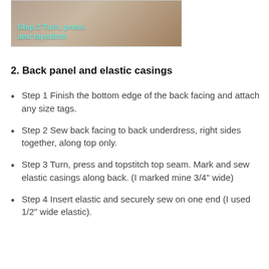[Figure (illustration): Sewing tutorial step image labeled 'Step 3 Turn, press and topstitch' showing fabric pieces on a dark background]
2. Back panel and elastic casings
Step 1 Finish the bottom edge of the back facing and attach any size tags.
Step 2 Sew back facing to back underdress, right sides together, along top only.
Step 3 Turn, press and topstitch top seam. Mark and sew elastic casings along back. (I marked mine 3/4" wide)
Step 4 Insert elastic and securely sew on one end (I used 1/2" wide elastic).